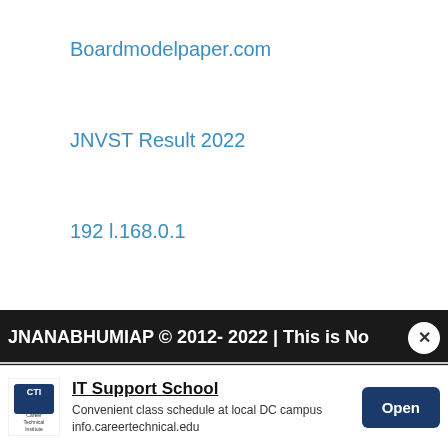Boardmodelpaper.com
JNVST Result 2022
192 l.168.0.1
Scholarship-Felowship.com
JNANABHUMIAP © 2012- 2022 | This is No
[Figure (screenshot): Advertisement banner for IT Support School with Career Technical Institute logo, text 'IT Support School - Convenient class schedule at local DC campus info.careertechnical.edu', and an Open button]